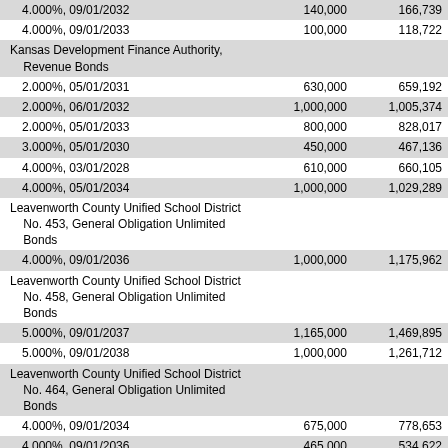|  |  |  |
| --- | --- | --- |
| 4.000%, 09/01/2032 | 140,000 | 166,739 |
| 4.000%, 09/01/2033 | 100,000 | 118,722 |
| Kansas Development Finance Authority, Revenue Bonds |  |  |
| 2.000%, 05/01/2031 | 630,000 | 659,192 |
| 2.000%, 06/01/2032 | 1,000,000 | 1,005,374 |
| 2.000%, 05/01/2033 | 800,000 | 828,017 |
| 3.000%, 05/01/2030 | 450,000 | 467,136 |
| 4.000%, 03/01/2028 | 610,000 | 660,105 |
| 4.000%, 05/01/2034 | 1,000,000 | 1,029,289 |
| Leavenworth County Unified School District No. 453, General Obligation Unlimited Bonds |  |  |
| 4.000%, 09/01/2036 | 1,000,000 | 1,175,962 |
| Leavenworth County Unified School District No. 458, General Obligation Unlimited Bonds |  |  |
| 5.000%, 09/01/2037 | 1,165,000 | 1,469,895 |
| 5.000%, 09/01/2038 | 1,000,000 | 1,261,712 |
| Leavenworth County Unified School District No. 464, General Obligation Unlimited Bonds |  |  |
| 4.000%, 09/01/2034 | 675,000 | 778,653 |
| 4.000%, 09/01/2036 | 465,000 | 534,622 |
| Leavenworth County Unified School District No. 469, General Obligation Unlimited Bonds |  |  |